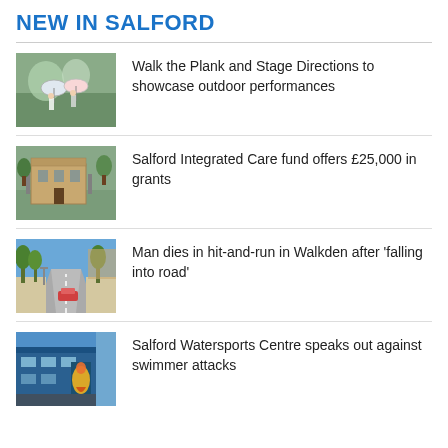NEW IN SALFORD
Walk the Plank and Stage Directions to showcase outdoor performances
Salford Integrated Care fund offers £25,000 in grants
Man dies in hit-and-run in Walkden after 'falling into road'
Salford Watersports Centre speaks out against swimmer attacks